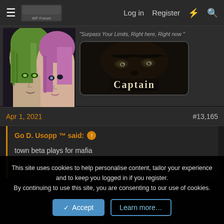Log in  Register
[Figure (screenshot): Anime-style profile avatar with two characters, one with green hair and one with pink/purple hair]
"Surpass Your Limits, Right here, Right now"
[Figure (screenshot): Dark character face badge labeled 'Captain' in decorative gothic font]
Apr 1, 2021
#13,165
Go D. Usopp ™ said:
town beta plays for mafia

mafia beta plays for cult
This site uses cookies to help personalise content, tailor your experience and to keep you logged in if you register.
By continuing to use this site, you are consenting to our use of cookies.
Accept  Learn more...